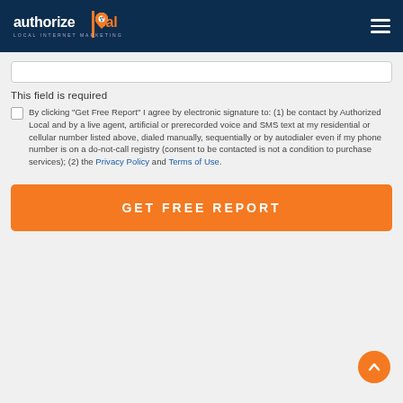authorize|local LOCAL INTERNET MARKETING
This field is required
By clicking "Get Free Report" I agree by electronic signature to: (1) be contact by Authorized Local and by a live agent, artificial or prerecorded voice and SMS text at my residential or cellular number listed above, dialed manually, sequentially or by autodialer even if my phone number is on a do-not-call registry (consent to be contacted is not a condition to purchase services); (2) the Privacy Policy and Terms of Use.
GET FREE REPORT